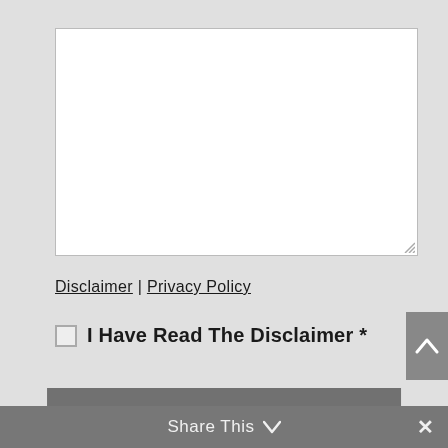[Figure (screenshot): Empty white textarea input box with resize handle at bottom right]
Disclaimer | Privacy Policy
I Have Read The Disclaimer *
GET ANSWERS NOW
Share This
✕